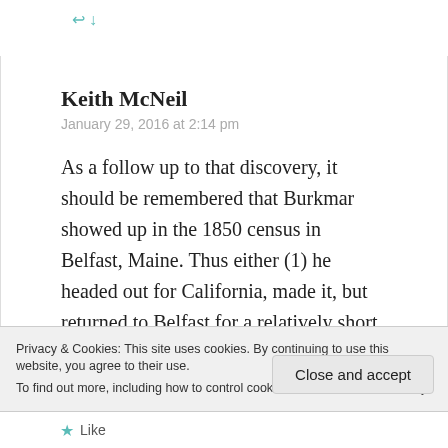Keith McNeil
January 29, 2016 at 2:14 pm
As a follow up to that discovery, it should be remembered that Burkmar showed up in the 1850 census in Belfast, Maine. Thus either (1) he headed out for California, made it, but returned to Belfast for a relatively short time, and then returned to California, or (2) he never made it to California until after the census was taken in
Privacy & Cookies: This site uses cookies. By continuing to use this website, you agree to their use.
To find out more, including how to control cookies, see here: Cookie Policy
Close and accept
Like